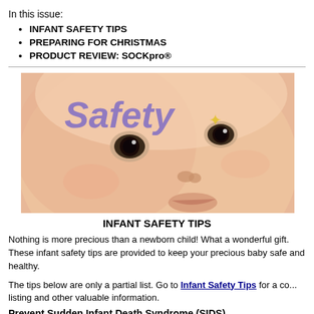In this issue:
INFANT SAFETY TIPS
PREPARING FOR CHRISTMAS
PRODUCT REVIEW: SOCKpro®
[Figure (photo): Close-up photo of a newborn baby's face with the word 'Safety' overlaid in purple text]
INFANT SAFETY TIPS
Nothing is more precious than a newborn child! What a wonderful gift. These infant safety tips are provided to keep your precious baby safe and healthy.
The tips below are only a partial list. Go to Infant Safety Tips for a complete listing and other valuable information.
Prevent Sudden Infant Death Syndrome (SIDS)
Always firm mattress and the baby should always...